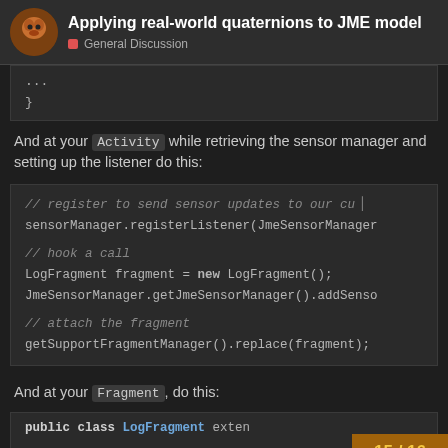Applying real-world quaternions to JME model | General Discussion
...
}
And at your Activity while retrieving the sensor manager and setting up the listener do this:
// register to send sensor updates to our cu...
sensorManager.registerListener(JmeSensorManager

// hook a call
LogFragment fragment = new LogFragment();
JmeSensorManager.getJmeSensorManager().addSenso

// attach the fragment
getSupportFragmentManager().replace(fragment);
And at your Fragment, do this:
public class LogFragment exten
15 / 16